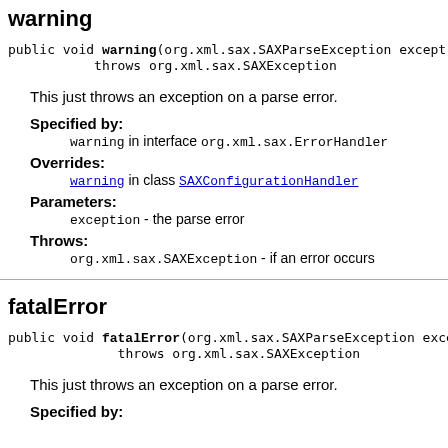warning
public void warning(org.xml.sax.SAXParseException except)
           throws org.xml.sax.SAXException
This just throws an exception on a parse error.
Specified by:
warning in interface org.xml.sax.ErrorHandler
Overrides:
warning in class SAXConfigurationHandler
Parameters:
exception - the parse error
Throws:
org.xml.sax.SAXException - if an error occurs
fatalError
public void fatalError(org.xml.sax.SAXParseException exce)
              throws org.xml.sax.SAXException
This just throws an exception on a parse error.
Specified by: